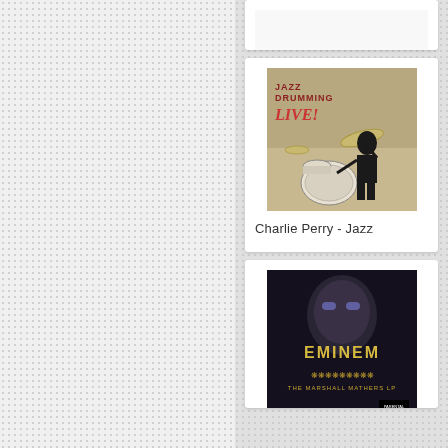[Figure (photo): Partial album card at top, cut off]
[Figure (photo): Jazz Drumming Live album cover showing a drummer playing a drum kit]
Charlie Perry - Jazz
[Figure (photo): Eminem - The Marshall Mathers LP album cover]